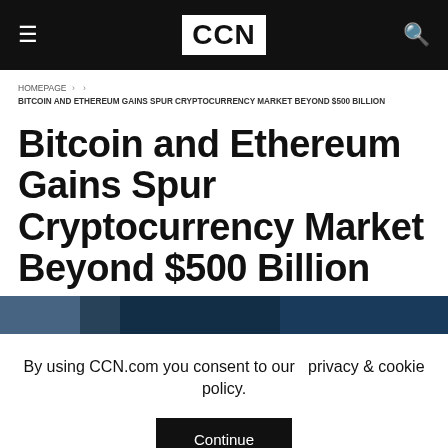CCN
HOMEPAGE > > BITCOIN AND ETHEREUM GAINS SPUR CRYPTOCURRENCY MARKET BEYOND $500 BILLION
Bitcoin and Ethereum Gains Spur Cryptocurrency Market Beyond $500 Billion
[Figure (photo): Dark blue/teal image strip at the top of article content]
By using CCN.com you consent to our  privacy & cookie policy.
Continue